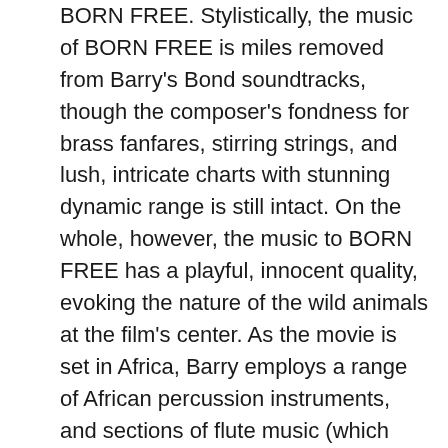BORN FREE. Stylistically, the music of BORN FREE is miles removed from Barry's Bond soundtracks, though the composer's fondness for brass fanfares, stirring strings, and lush, intricate charts with stunning dynamic range is still intact. On the whole, however, the music to BORN FREE has a playful, innocent quality, evoking the nature of the wild animals at the film's center. As the movie is set in Africa, Barry employs a range of African percussion instruments, and sections of flute music (which often seem to echo the sounds of birds or other creatures). The arrangements are expansive and sweeping, giving rise to the sensation of open plains, and Barry's recurring musical themes parallel the film's action (the track titles indicate plot events). The score is, for